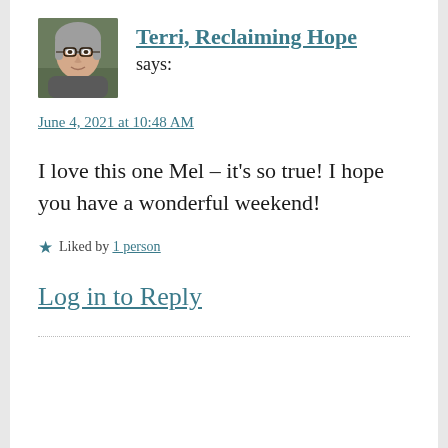[Figure (photo): Avatar photo of a woman with gray hair and glasses, outdoors background]
Terri, Reclaiming Hope
says:
June 4, 2021 at 10:48 AM
I love this one Mel – it's so true! I hope you have a wonderful weekend!
Liked by 1 person
Log in to Reply